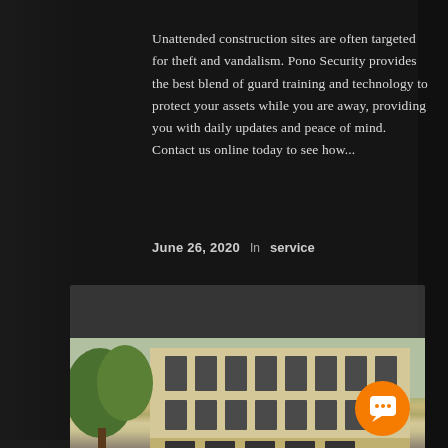Unattended construction sites are often targeted for theft and vandalism. Pono Security provides the best blend of guard training and technology to protect your assets while you are away, providing you with daily updates and peace of mind. Contact us online today to see how...
June 26, 2020   In  service
[Figure (photo): Street scene with a crowd of people walking in front of a large classical commercial building with trees. An orange chat button overlay is visible in the bottom right corner.]